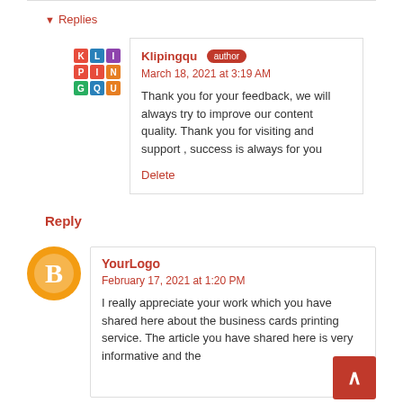▼ Replies
Klipingqu author
March 18, 2021 at 3:19 AM
Thank you for your feedback, we will always try to improve our content quality. Thank you for visiting and support , success is always for you
Delete
Reply
YourLogo
February 17, 2021 at 1:20 PM
I really appreciate your work which you have shared here about the business cards printing service. The article you have shared here is very informative and the